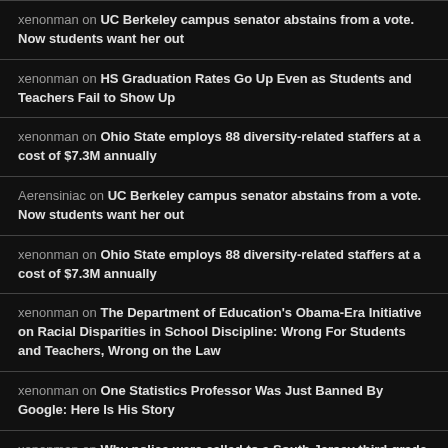xenonman on UC Berkeley campus senator abstains from a vote. Now students want her out
xenonman on HS Graduation Rates Go Up Even as Students and Teachers Fail to Show Up
xenonman on Ohio State employs 88 diversity-related staffers at a cost of $7.3M annually
Aerensiniac on UC Berkeley campus senator abstains from a vote. Now students want her out
xenonman on Ohio State employs 88 diversity-related staffers at a cost of $7.3M annually
xenonman on The Department of Education's Obama-Era Initiative on Racial Disparities in School Discipline: Wrong For Students and Teachers, Wrong on the Law
xenonman on One Statistics Professor Was Just Banned By Google: Here Is His Story
xenonman on Why police were called to a South Jersey third-grade class party